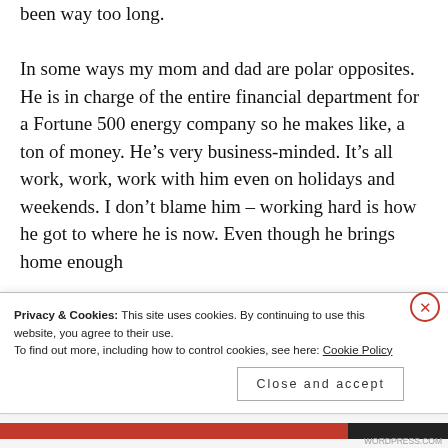been way too long.
In some ways my mom and dad are polar opposites. He is in charge of the entire financial department for a Fortune 500 energy company so he makes like, a ton of money. He’s very business-minded. It’s all work, work, work with him even on holidays and weekends. I don’t blame him – working hard is how he got to where he is now. Even though he brings home enough
Privacy & Cookies: This site uses cookies. By continuing to use this website, you agree to their use.
To find out more, including how to control cookies, see here: Cookie Policy
Close and accept